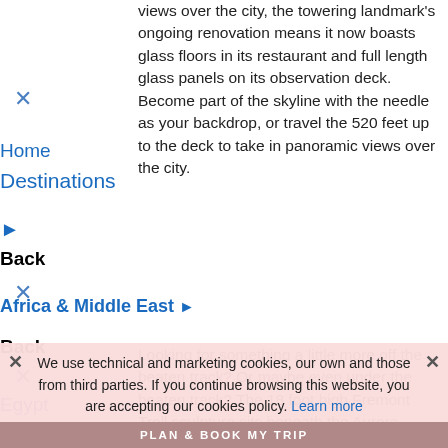views over the city, the towering landmark's ongoing renovation means it now boasts glass floors in its restaurant and full length glass panels on its observation deck. Become part of the skyline with the needle as your backdrop, or travel the 520 feet up to the deck to take in panoramic views over the city.
Home
Destinations
Back
Africa & Middle East ▶
Back
Egypt
Gambia
Looking for something a little more off the beaten track? Or maybe even under the beaten track? The 18 foot high Fremont Troll sculpture sits beneath the Aurora bridge and
We use technical and marketing cookies, our own and those from third parties. If you continue browsing this website, you are accepting our cookies policy. Learn more
PLAN & BOOK MY TRIP